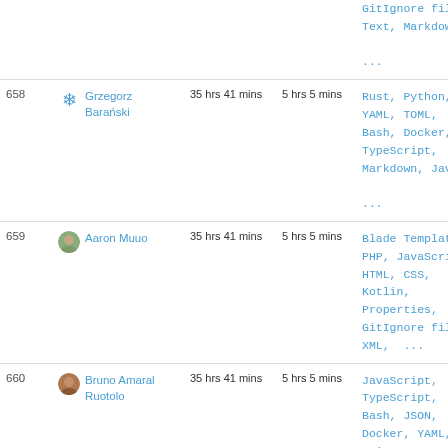| # | User | Total time | Daily avg | Languages |
| --- | --- | --- | --- | --- |
|  |  |  |  | GitIgnore file, Text, Markdown, ... |
| 658 | Grzegorz Barański | 35 hrs 41 mins | 5 hrs 5 mins | Rust, Python, YAML, TOML, Bash, Docker, TypeScript, Markdown, Java, ... |
| 659 | Aaron Muuo | 35 hrs 41 mins | 5 hrs 5 mins | Blade Template, PHP, JavaScript, HTML, CSS, Kotlin, Properties, GitIgnore file, XML, ... |
| 660 | Bruno Amaral Ruotolo | 35 hrs 41 mins | 5 hrs 5 mins | JavaScript, TypeScript, Bash, JSON, Docker, YAML, Nginx configuration file, HTML, CSS, |